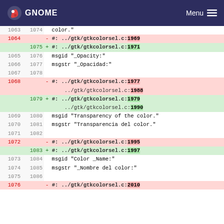GNOME  Menu
| Old | New | Content |
| --- | --- | --- |
| 1063 | 1074 |   color." |
| 1064 |  | - #: ../gtk/gtkcolorsel.c:1969 |
|  | 1075 | + #: ../gtk/gtkcolorsel.c:1971 |
| 1065 | 1076 |   msgid "_Opacity:" |
| 1066 | 1077 |   msgstr "_Opacidad:" |
| 1067 | 1078 |  |
| 1068 |  | - #: ../gtk/gtkcolorsel.c:1977 |
| 1068 |  |        ../gtk/gtkcolorsel.c:1988 |
|  | 1079 | + #: ../gtk/gtkcolorsel.c:1979 |
|  | 1079 |        ../gtk/gtkcolorsel.c:1990 |
| 1069 | 1080 |   msgid "Transparency of the color." |
| 1070 | 1081 |   msgstr "Transparencia del color." |
| 1071 | 1082 |  |
| 1072 |  | - #: ../gtk/gtkcolorsel.c:1995 |
|  | 1083 | + #: ../gtk/gtkcolorsel.c:1997 |
| 1073 | 1084 |   msgid "Color _Name:" |
| 1074 | 1085 |   msgstr "_Nombre del color:" |
| 1075 | 1086 |  |
| 1076 |  | - #: ../gtk/gtkcolorsel.c:2010 |